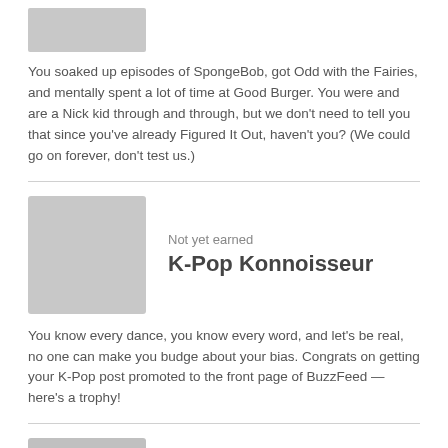[Figure (photo): Blurred/redacted image placeholder at top left]
You soaked up episodes of SpongeBob, got Odd with the Fairies, and mentally spent a lot of time at Good Burger. You were and are a Nick kid through and through, but we don't need to tell you that since you've already Figured It Out, haven't you? (We could go on forever, don't test us.)
[Figure (photo): Blurred badge image for K-Pop Konnoisseur]
Not yet earned
K-Pop Konnoisseur
You know every dance, you know every word, and let's be real, no one can make you budge about your bias. Congrats on getting your K-Pop post promoted to the front page of BuzzFeed — here's a trophy!
[Figure (photo): Blurred badge image for Totally Stylin']
Not yet earned
Totally Stylin'